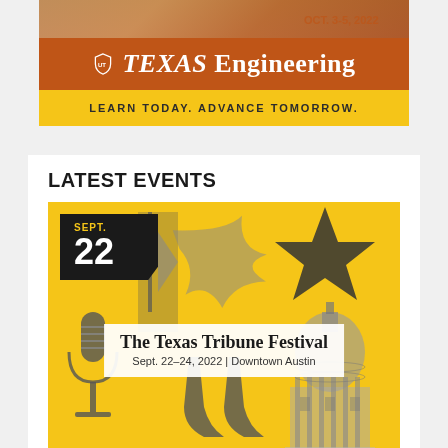[Figure (logo): Texas Engineering banner with orange background showing shield logo, 'TEXAS Engineering' text, and yellow strip with 'LEARN TODAY. ADVANCE TOMORROW.' tagline]
LATEST EVENTS
[Figure (illustration): Event card for The Texas Tribune Festival on yellow background with date badge 'SEPT. 22', grayscale images of Texas flag, star, microphone, cowboy boots, and Texas State Capitol building. White overlay box with event name and details.]
The Texas Tribune Festival
Sept. 22–24, 2022 | Downtown Austin